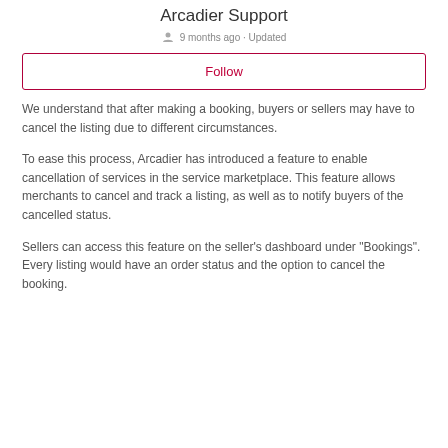Arcadier Support
9 months ago · Updated
Follow
We understand that after making a booking, buyers or sellers may have to cancel the listing due to different circumstances.
To ease this process, Arcadier has introduced a feature to enable cancellation of services in the service marketplace. This feature allows merchants to cancel and track a listing, as well as to notify buyers of the cancelled status.
Sellers can access this feature on the seller's dashboard under "Bookings". Every listing would have an order status and the option to cancel the booking.